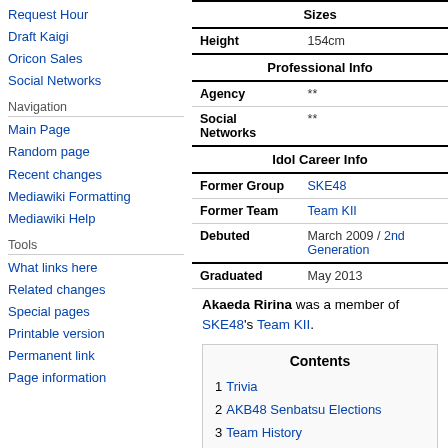Request Hour
Draft Kaigi
Oricon Sales
Social Networks
Navigation
Main Page
Random page
Recent changes
Mediawiki Formatting
Mediawiki Help
Tools
What links here
Related changes
Special pages
Printable version
Permanent link
Page information
| Field | Value |
| --- | --- |
| Sizes |  |
| Height | 154cm |
| Professional Info |  |
| Agency | ** |
| Social Networks | ** |
| Idol Career Info |  |
| Former Group | SKE48 |
| Former Team | Team KII |
| Debuted | March 2009 / 2nd Generation |
| Graduated | May 2013 |
Akaeda Ririna was a member of SKE48's Team KII.
| Contents |
| --- |
| 1 Trivia |
| 2 AKB48 Senbatsu Elections |
| 3 Team History |